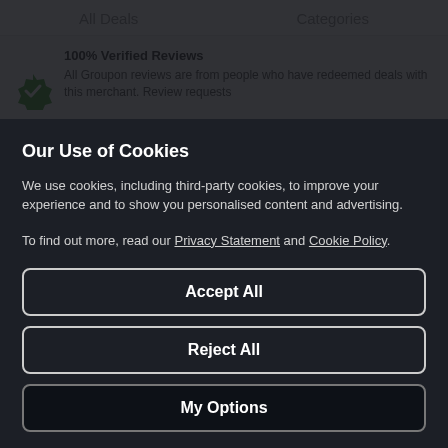All Deals    Categories
100% Verified Reviews
All Groupon reviews are from people who have redeemed deals with this merchant. Review requests are sent by email to customers who purchased the deal.
Our Use of Cookies
We use cookies, including third-party cookies, to improve your experience and to show you personalised content and advertising.
To find out more, read our Privacy Statement and Cookie Policy.
Accept All
Reject All
My Options